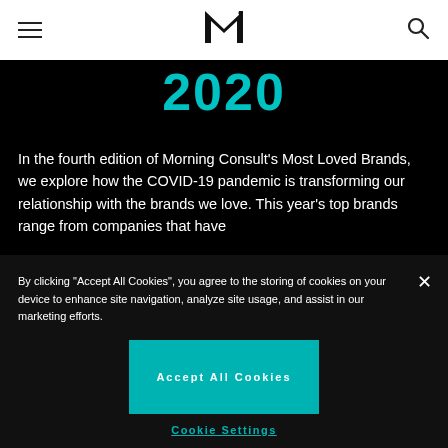Morning Consult navigation bar with hamburger menu, M logo, and search icon
2020
In the fourth edition of Morning Consult’s Most Loved Brands, we explore how the COVID-19 pandemic is transforming our relationship with the brands we love. This year’s top brands range from companies that have
By clicking “Accept All Cookies”, you agree to the storing of cookies on your device to enhance site navigation, analyze site usage, and assist in our marketing efforts.
Accept All Cookies
Cookie Settings